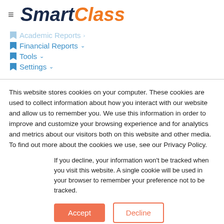[Figure (logo): SmartClass logo with hamburger menu icon. 'Smart' in dark navy italic bold, 'Class' in orange italic bold.]
Academic Reports
Financial Reports
Tools
Settings
This website stores cookies on your computer. These cookies are used to collect information about how you interact with our website and allow us to remember you. We use this information in order to improve and customize your browsing experience and for analytics and metrics about our visitors both on this website and other media. To find out more about the cookies we use, see our Privacy Policy.
If you decline, your information won't be tracked when you visit this website. A single cookie will be used in your browser to remember your preference not to be tracked.